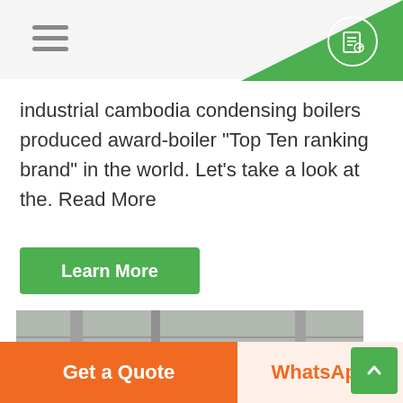industrial cambodia condensing boilers produced award-boiler "Top Ten ranking brand" in the world. Let's take a look at the. Read More
Learn More
[Figure (photo): Industrial boiler room with large cylindrical blue boilers and yellow safety railings/pipes overhead]
Get a Quote | WhatsApp